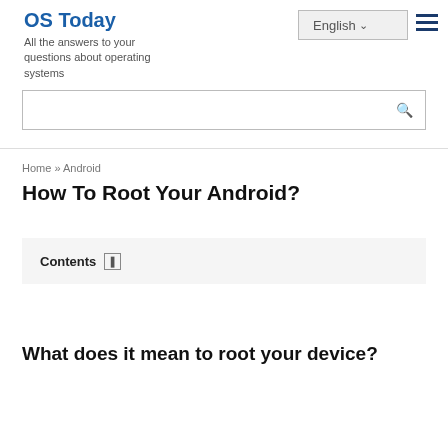OS Today — All the answers to your questions about operating systems
English
Home » Android
How To Root Your Android?
Contents
What does it mean to root your device?